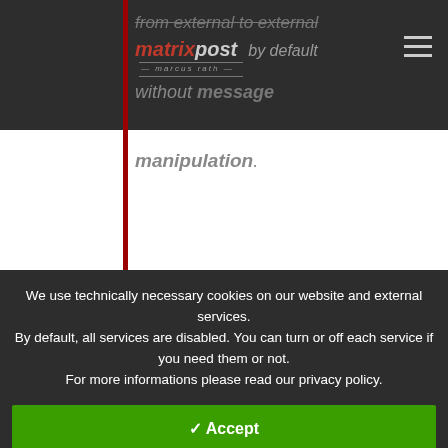matrixpost by default without message manipulation.
So with call forwarding, by default the original caller id will be sent along with the outbound call to
We use technically necessary cookies on our website and external services.
By default, all services are disabled. You can turn or off each service if you need them or not.
For more informations please read our privacy policy.
✓ Accept
Customize